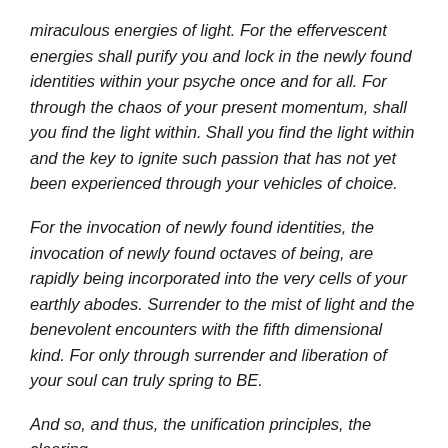miraculous energies of light. For the effervescent energies shall purify you and lock in the newly found identities within your psyche once and for all. For through the chaos of your present momentum, shall you find the light within. Shall you find the light within and the key to ignite such passion that has not yet been experienced through your vehicles of choice.
For the invocation of newly found identities, the invocation of newly found octaves of being, are rapidly being incorporated into the very cells of your earthly abodes. Surrender to the mist of light and the benevolent encounters with the fifth dimensional kind. For only through surrender and liberation of your soul can truly spring to BE.
And so, and thus, the unification principles, the clearing